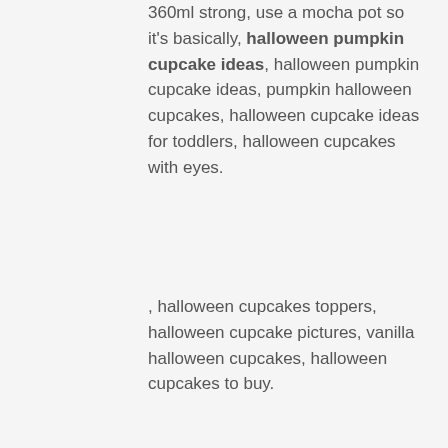360ml strong, use a mocha pot so it's basically, halloween pumpkin cupcake ideas, halloween pumpkin cupcake ideas, pumpkin halloween cupcakes, halloween cupcake ideas for toddlers, halloween cupcakes with eyes.
, halloween cupcakes toppers, halloween cupcake pictures, vanilla halloween cupcakes, halloween cupcakes to buy.
When you try to get related information on easy halloween cupcakes, you may look for related areas. easy halloween chocolate cupcakes,easy halloween spider cupcakes,easy halloween cupcakes decorations,easy halloween cupcake designs,easy halloween cupcakes for toddlers,easy halloween mini cupcakes,easy halloween pumpkin cupcakes,easy scary halloween cupcakes,easy halloween cupcake toppers halloween pumpkin cupcake ideas, pumpkin halloween cupcakes, halloween cupcake ideas for toddlers, halloween